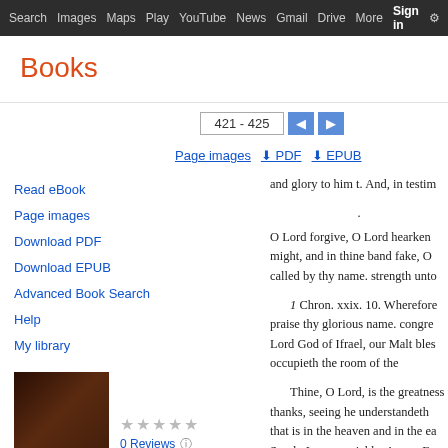Search  Images  Maps  Play  YouTube  News  Gmail  Drive  More  Sign in  (settings)
Books
421 - 425
Page images   PDF   EPUB
Read eBook
Page images
Download PDF
Download EPUB
Advanced Book Search
Help
My library
[Figure (photo): Book cover thumbnail — dark brown/maroon cover of The Confession of Faith]
0 Reviews   Write review
The Confession of Faith, the Larger and Shorter Catechisms, with the ...
and glory to him t. And, in testim
.
O Lord forgive, O Lord hearken might, and in thine band fake, O called by thy name. strength unto
1 Chron. xxix. 10. Wherefore praise thy glorious name. congre Lord God of Ifrael, our Malt bles occupieth the room of the
Thine, O Lord, is the greatness thanks, seeing he understandeth that is in the heaven and in the ea Surely I come quickly. Amen. E